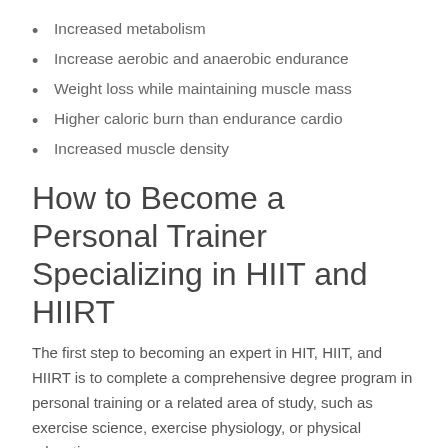Increased metabolism
Increase aerobic and anaerobic endurance
Weight loss while maintaining muscle mass
Higher caloric burn than endurance cardio
Increased muscle density
How to Become a Personal Trainer Specializing in HIIT and HIIRT
The first step to becoming an expert in HIT, HIIT, and HIIRT is to complete a comprehensive degree program in personal training or a related area of study, such as exercise science, exercise physiology, or physical education.
Personal training degree programs, which are usually